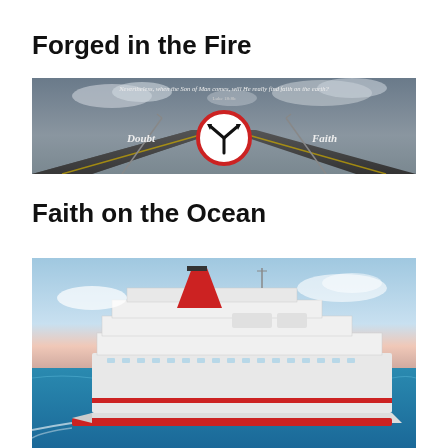Forged in the Fire
[Figure (illustration): A road splitting into two directions with a circular fork sign in the center. Left path labeled 'Doubt', right path labeled 'Faith'. Text at top reads: 'Nevertheless, when the Son of Man comes, will He really find faith on the earth?' with a stormy sky background.]
Faith on the Ocean
[Figure (photo): A large white cruise ship (Carnival cruise line, with red funnel) sailing on blue ocean water under a partly cloudy sky with pink-tinged horizon.]